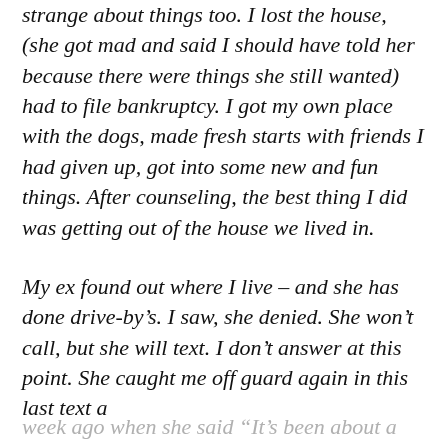strange about things too. I lost the house, (she got mad and said I should have told her because there were things she still wanted) had to file bankruptcy. I got my own place with the dogs, made fresh starts with friends I had given up, got into some new and fun things. After counseling, the best thing I did was getting out of the house we lived in.
My ex found out where I live – and she has done drive-by's. I saw, she denied. She won't call, but she will text. I don't answer at this point. She caught me off guard again in this last text a
week ago when she said “It’s been about a year